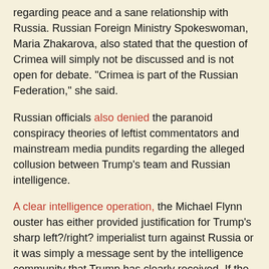regarding peace and a sane relationship with Russia. Russian Foreign Ministry Spokeswoman, Maria Zhakarova, also stated that the question of Crimea will simply not be discussed and is not open for debate. "Crimea is part of the Russian Federation," she said.
Russian officials also denied the paranoid conspiracy theories of leftist commentators and mainstream media pundits regarding the alleged collusion between Trump's team and Russian intelligence.
A clear intelligence operation, the Michael Flynn ouster has either provided justification for Trump's sharp left?/right? imperialist turn against Russia or it was simply a message sent by the intelligence community that Trump has clearly received. If the incident was the former, we are witnessing clever theater being played at a level of complexity heretofore unseen in American politics. If it is the latter, however, Trump must immediately begin to get his intelligence apparatus under control, possibly by indictments of any individuals involved in the monitoring and leaking of Flynn's phone call. Indeed, these rogue actors should be